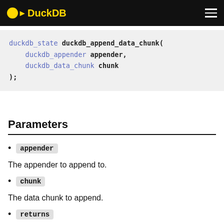DuckDB
Parameters
appender
The appender to append to.
chunk
The data chunk to append.
returns
The return state.